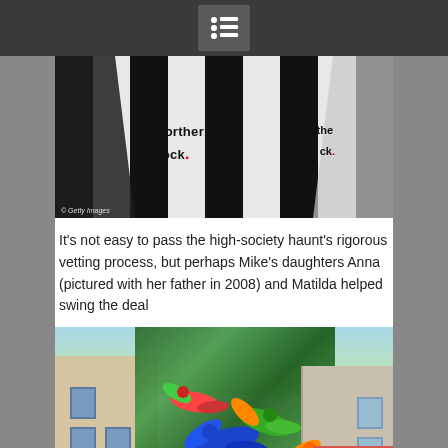[Figure (photo): Top navigation bar with dark background and hamburger/list menu icon in center]
[Figure (photo): Photo of a person wearing a black and white striped Newcastle United jersey with 'northern rock' sponsor text, Getty Images watermark visible]
It’s not easy to pass the high-society haunt’s rigorous vetting process, but perhaps Mike’s daughters Anna (pictured with her father in 2008) and Matilda helped swing the deal
[Figure (photo): Photo of a building facade decorated with colorful parrots and tropical greenery, likely in London]